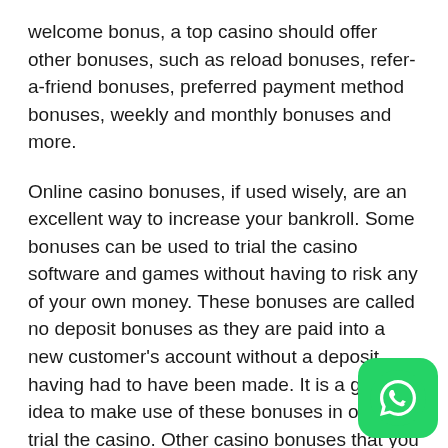welcome bonus, a top casino should offer other bonuses, such as reload bonuses, refer-a-friend bonuses, preferred payment method bonuses, weekly and monthly bonuses and more.
Online casino bonuses, if used wisely, are an excellent way to increase your bankroll. Some bonuses can be used to trial the casino software and games without having to risk any of your own money. These bonuses are called no deposit bonuses as they are paid into a new customer's account without a deposit having had to have been made. It is a good idea to make use of these bonuses in order to trial the casino. Other casino bonuses that you are awarded can be used to boost your bankroll in order to help you to play for longer or to play better.
Make sure you are aware of the wagering requirements bonus before you accept it as you may find that the requirements are so limited that you will in fact end up